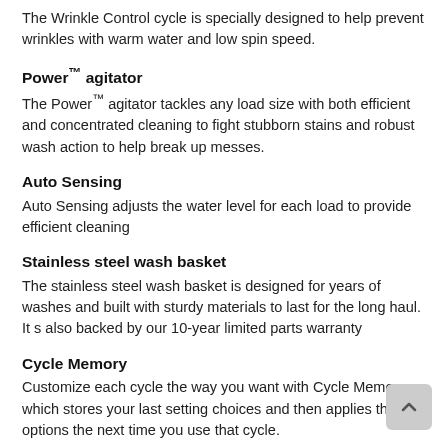The Wrinkle Control cycle is specially designed to help prevent wrinkles with warm water and low spin speed.
Power™ agitator
The Power™ agitator tackles any load size with both efficient and concentrated cleaning to fight stubborn stains and robust wash action to help break up messes.
Auto Sensing
Auto Sensing adjusts the water level for each load to provide efficient cleaning
Stainless steel wash basket
The stainless steel wash basket is designed for years of washes and built with sturdy materials to last for the long haul. It s also backed by our 10-year limited parts warranty
Cycle Memory
Customize each cycle the way you want with Cycle Memory, which stores your last setting choices and then applies those options the next time you use that cycle.
Clean Washer with affresh® cycle
Deep clean the inside of your washer with the affresh® washing